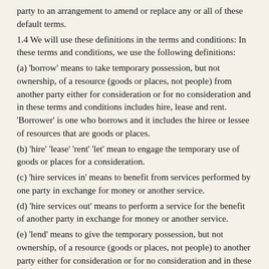party to an arrangement to amend or replace any or all of these default terms.
1.4 We will use these definitions in the terms and conditions: In these terms and conditions, we use the following definitions:
(a) 'borrow' means to take temporary possession, but not ownership, of a resource (goods or places, not people) from another party either for consideration or for no consideration and in these terms and conditions includes hire, lease and rent. 'Borrower' is one who borrows and it includes the hiree or lessee of resources that are goods or places.
(b) 'hire' 'lease' 'rent' 'let' mean to engage the temporary use of goods or places for a consideration.
(c) 'hire services in' means to benefit from services performed by one party in exchange for money or another service.
(d) 'hire services out' means to perform a service for the benefit of another party in exchange for money or another service.
(e) 'lend' means to give the temporary possession, but not ownership, of a resource (goods or places, not people) to another party either for consideration or for no consideration and in these terms and conditions includes to let, to lease, to rent out, and to hire out. 'Lender' is one who lends (includes owner or agent)